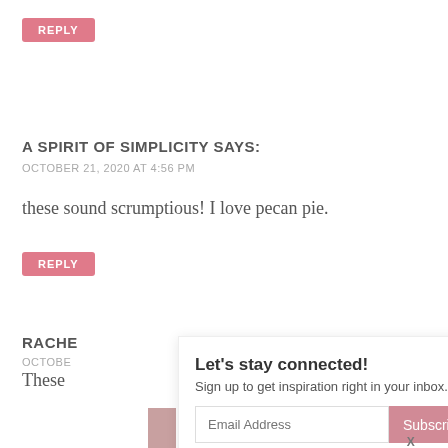REPLY
A SPIRIT OF SIMPLICITY SAYS:
OCTOBER 21, 2020 AT 4:56 PM
these sound scrumptious! I love pecan pie.
REPLY
RACHE...
OCTOBE...
These...
Let's stay connected! Sign up to get inspiration right in your inbox... Email Address Subscribe X CLOSE